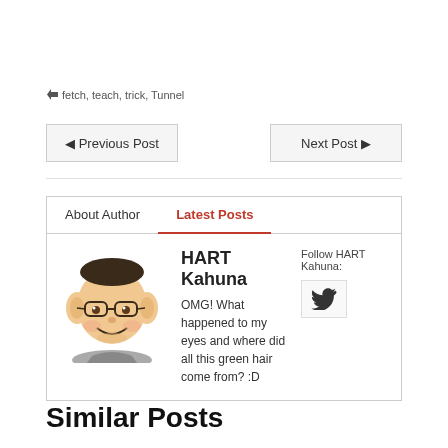🏷fetch, teach, trick, Tunnel
◄ Previous Post
Next Post ►
About Author
Latest Posts
HART Kahuna
OMG! What happened to my eyes and where did all this green hair come from? :D
Follow HART Kahuna:
[Figure (illustration): Caricature avatar of HART Kahuna — cartoon face with glasses and big ears]
[Figure (logo): Twitter bird icon]
Similar Posts